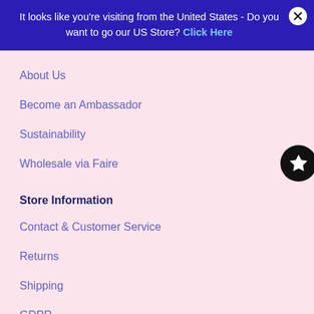It looks like you're visiting from the United States - Do you want to go our US Store? Click Here
About Us
Become an Ambassador
Sustainability
Wholesale via Faire
Store Information
Contact & Customer Service
Returns
Shipping
GDPR
Terms & Conditions
Privacy Policy